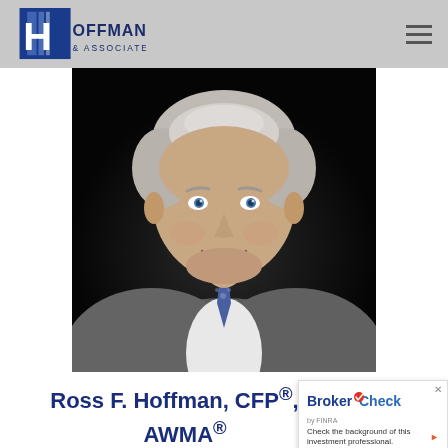Hoffman & Associates — navigation header with logo and menu
[Figure (photo): Professional headshot of Ross F. Hoffman, an older man with silver hair wearing a grey suit, white shirt, and blue patterned tie, photographed against a dark background.]
Ross F. Hoffman, CFP®, A AWMA®
[Figure (infographic): BrokerCheck by FINRA overlay widget with close button, logo, tagline 'by FINRA', and call-to-action text 'Check the background of this investment professional.' with an arrow.]